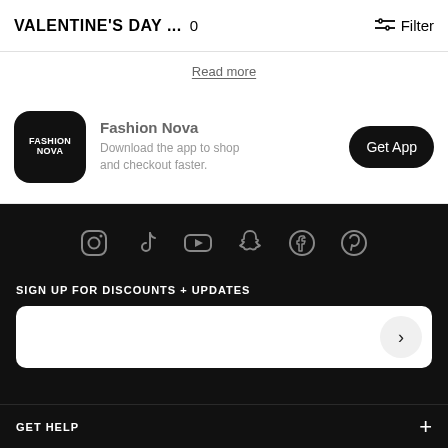VALENTINE'S DAY ... 0  Filter
Read more
Fashion Nova
Download the app to shop and checkout faster.
Get App
[Figure (infographic): Six social media icons in a row: Instagram, TikTok, YouTube, Snapchat, Facebook, Pinterest]
SIGN UP FOR DISCOUNTS + UPDATES
>
GET HELP +